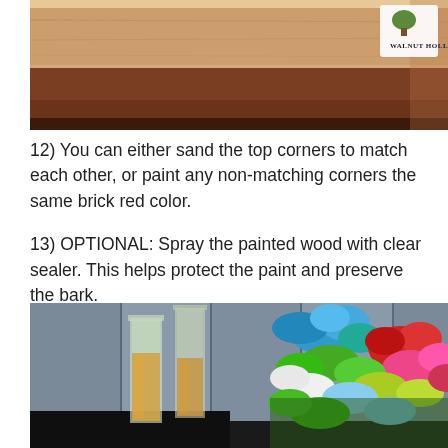[Figure (photo): Photo of wood top corners showing brick red and natural wood tones, with Walnut Hollow logo in top right corner]
12) You can either sand the top corners to match each other, or paint any non-matching corners the same brick red color.
13) OPTIONAL: Spray the painted wood with clear sealer. This helps protect the paint and preserve the bark.
[Figure (photo): Photo of glass vases with amber liquid beside colorful paper flowers (blue, red, pink, green, white) arranged on a table against a grey wood-paneled background]